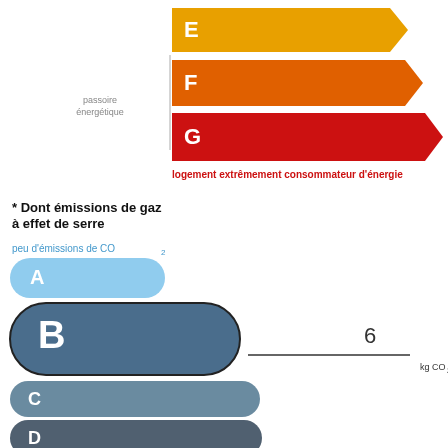[Figure (infographic): French energy rating label (DPE) showing energy classes E, F, G as arrow bars (yellow, orange, red) with 'passoire énergétique' label and text 'logement extrêmement consommateur d'énergie'. Below: greenhouse gas emissions section with classes A (light blue pill), B (selected, dark blue-grey pill with value 6 kg CO2/m².an), C (medium blue-grey pill), D (darker blue-grey pill). Label 'peu d'émissions de CO2' in blue above A.]
* Dont émissions de gaz à effet de serre
peu d'émissions de CO₂
6 kg CO₂/m².an